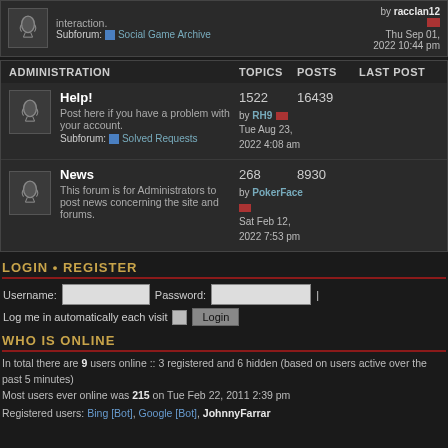interaction. Subforum: Social Game Archive — by racclan12 Thu Sep 01, 2022 10:44 pm
ADMINISTRATION — TOPICS POSTS LAST POST
| Forum | Topics | Posts | Last Post |
| --- | --- | --- | --- |
| Help! Post here if you have a problem with your account. Subforum: Solved Requests | 1522 | 16439 | by RH9 Tue Aug 23, 2022 4:08 am |
| News This forum is for Administrators to post news concerning the site and forums. | 268 | 8930 | by PokerFace Sat Feb 12, 2022 7:53 pm |
LOGIN • REGISTER
Username: [input] Password: [input] Log me in automatically each visit [checkbox] Login
WHO IS ONLINE
In total there are 9 users online :: 3 registered and 6 hidden (based on users active over the past 5 minutes)
Most users ever online was 215 on Tue Feb 22, 2011 2:39 pm
Registered users: Bing [Bot], Google [Bot], JohnnyFarrar